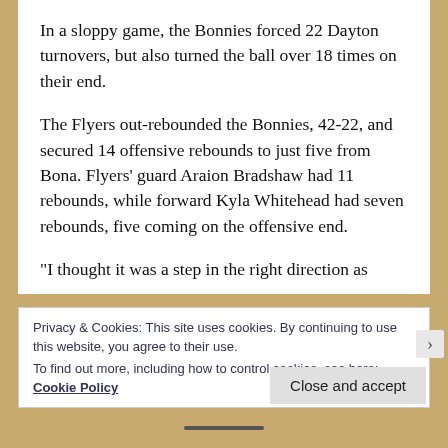In a sloppy game, the Bonnies forced 22 Dayton turnovers, but also turned the ball over 18 times on their end.
The Flyers out-rebounded the Bonnies, 42-22, and secured 14 offensive rebounds to just five from Bona. Flyers' guard Araion Bradshaw had 11 rebounds, while forward Kyla Whitehead had seven rebounds, five coming on the offensive end.
“I thought it was a step in the right direction as
Privacy & Cookies: This site uses cookies. By continuing to use this website, you agree to their use.
To find out more, including how to control cookies, see here: Cookie Policy
Close and accept